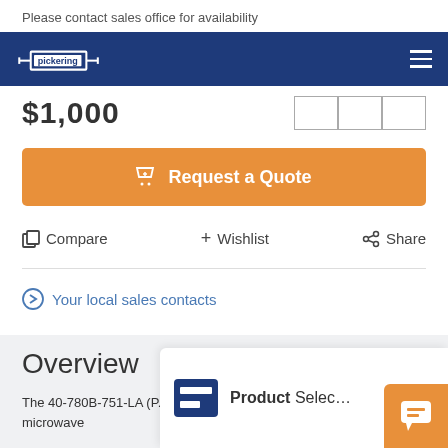Please contact sales office for availability
[Figure (logo): Pickering logo on dark blue navigation bar with hamburger menu]
$1,000
Request a Quote
Compare   + Wishlist   Share
Your local sales contacts
Overview
The 40-780B-751-LA (P... single latching SPDT 2.5 GHz unterminated microwave
[Figure (screenshot): Product Selector popup overlay with blue icon]